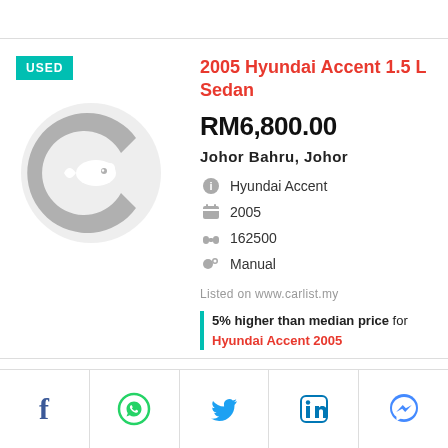[Figure (logo): Carlist.my logo - grey C shape with a small fish icon]
2005 Hyundai Accent 1.5 L Sedan
RM6,800.00
Johor Bahru, Johor
Hyundai Accent
2005
162500
Manual
Listed on www.carlist.my
5% higher than median price for Hyundai Accent 2005
[Figure (infographic): Social sharing bar with Facebook, WhatsApp, Twitter, LinkedIn, and Messenger icons]